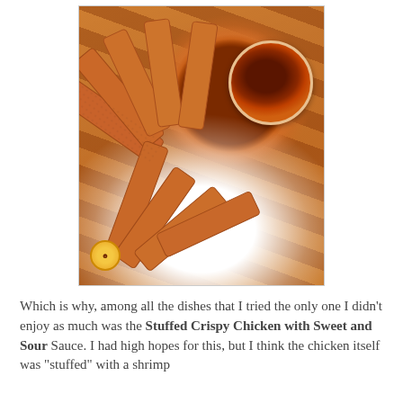[Figure (photo): Photo of Stuffed Crispy Chicken with Sweet and Sour Sauce — fried chicken strips arranged in a fan/sunburst pattern on a white plate around a small bowl of dark brown sweet and sour sauce. A small circular logo/watermark appears in the lower left of the photo.]
Which is why, among all the dishes that I tried the only one I didn't enjoy as much was the Stuffed Crispy Chicken with Sweet and Sour Sauce. I had high hopes for this, but I think the chicken itself was "stuffed" with a shrimp